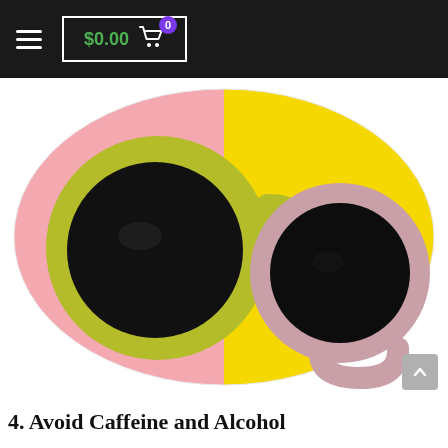$0.00  0
[Figure (photo): Top-down view of two coffee mugs filled with black coffee. Left mug is yellow-green on a pink background, right mug is pink/mauve on a yellow background. Both sit on a large oval platter split diagonally pink and yellow.]
4. Avoid Caffeine and Alcohol